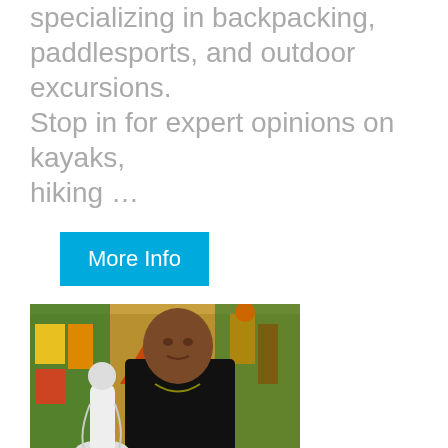specializing in backpacking, paddlesports, and outdoor excursions. Stop in for expert opinions on kayaks, hiking …
More Info
[Figure (photo): A man in a black shirt standing in a botanica shop holding a white religious figurine, surrounded by colorful items on shelves.]
Nico World Botanica
Nico World offers a great assortment of herbs, candles, incense and wiccan or…